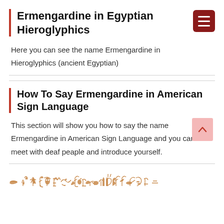Ermengardine in Egyptian Hieroglyphics
Here you can see the name Ermengardine in Hieroglyphics (ancient Egyptian)
How To Say Ermengardine in American Sign Language
This section will show you how to say the name Ermengardine in American Sign Language and you can meet with deaf peaple and introduce yourself.
[Figure (illustration): Row of Egyptian hieroglyphic symbols representing the name Ermengardine, shown in brownish-orange color]